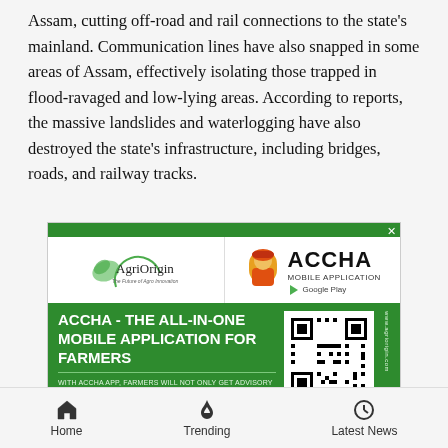Assam, cutting off-road and rail connections to the state's mainland. Communication lines have also snapped in some areas of Assam, effectively isolating those trapped in flood-ravaged and low-lying areas. According to reports, the massive landslides and waterlogging have also destroyed the state's infrastructure, including bridges, roads, and railway tracks.
[Figure (other): Advertisement for ACCHA Mobile Application by AgriOrigin. Features AgriOrigin logo and ACCHA logo at top, with green background section promoting 'ACCHA - THE ALL-IN-ONE MOBILE APPLICATION FOR FARMERS', description text about advisory services, and a QR code to scan to download from Google Play Store.]
Home   Trending   Latest News